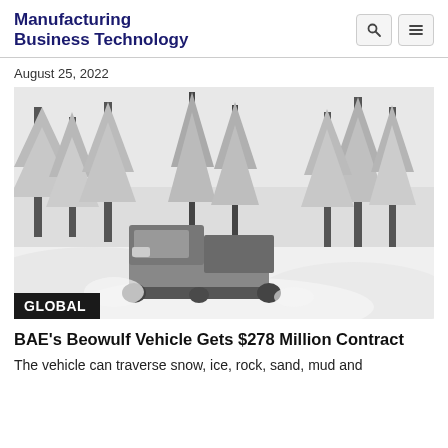Manufacturing Business Technology
August 25, 2022
[Figure (photo): Black and white photograph of a military tracked vehicle (Beowulf) traversing a snow-covered forest road with heavy snow on trees in the background. A 'GLOBAL' category label overlays the bottom-left of the image.]
BAE's Beowulf Vehicle Gets $278 Million Contract
The vehicle can traverse snow, ice, rock, sand, mud and